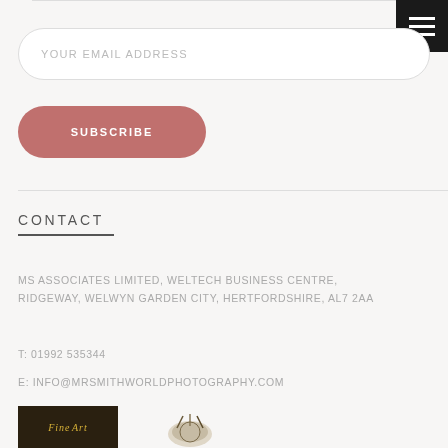YOUR EMAIL ADDRESS
SUBSCRIBE
CONTACT
MS ASSOCIATES LIMITED, WELTECH BUSINESS CENTRE, RIDGEWAY, WELWYN GARDEN CITY, HERTFORDSHIRE, AL7 2AA
T: 01992 535344
E: INFO@MRSMITHWORLDPHOTOGRAPHY.COM
[Figure (logo): Fine Art badge/logo in dark background with gold text]
[Figure (logo): Decorative photography logo mark]